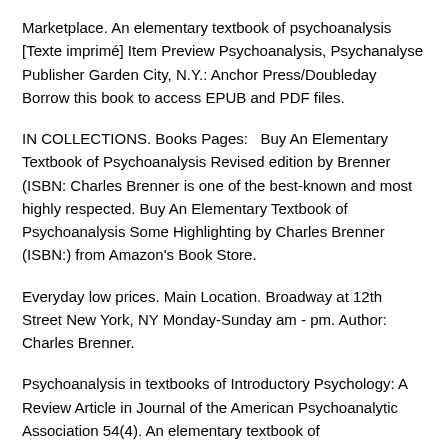Marketplace. An elementary textbook of psychoanalysis [Texte imprimé] Item Preview Psychoanalysis, Psychanalyse Publisher Garden City, N.Y.: Anchor Press/Doubleday Borrow this book to access EPUB and PDF files.
IN COLLECTIONS. Books Pages:   Buy An Elementary Textbook of Psychoanalysis Revised edition by Brenner (ISBN: Charles Brenner is one of the best-known and most highly respected. Buy An Elementary Textbook of Psychoanalysis Some Highlighting by Charles Brenner (ISBN:) from Amazon's Book Store.
Everyday low prices. Main Location. Broadway at 12th Street New York, NY Monday-Sunday am - pm. Author: Charles Brenner.
Psychoanalysis in textbooks of Introductory Psychology: A Review Article in Journal of the American Psychoanalytic Association 54(4). An elementary textbook of psychoanalysis. Madison, Conn: International Universities Press.
MLA Citation. Brenner, Charles. An elementary textbook of psychoanalysis / Charles Brenner. International Universities Press.